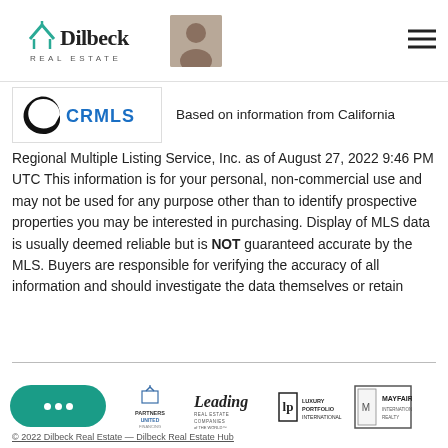[Figure (logo): Dilbeck Real Estate logo with teal house icon and agent photo]
[Figure (logo): CRMLS logo — black swoosh with blue CRMLS text]
Based on information from California Regional Multiple Listing Service, Inc. as of August 27, 2022 9:46 PM UTC This information is for your personal, non-commercial use and may not be used for any purpose other than to identify prospective properties you may be interested in purchasing. Display of MLS data is usually deemed reliable but is NOT guaranteed accurate by the MLS. Buyers are responsible for verifying the accuracy of all information and should investigate the data themselves or retain
[Figure (logo): Footer logos row: Partners United Financing, Leading Real Estate Companies of the World, Luxury Portfolio International, Mayfair International Realty]
© 2022 Dilbeck Real Estate — Dilbeck Real Estate Hub